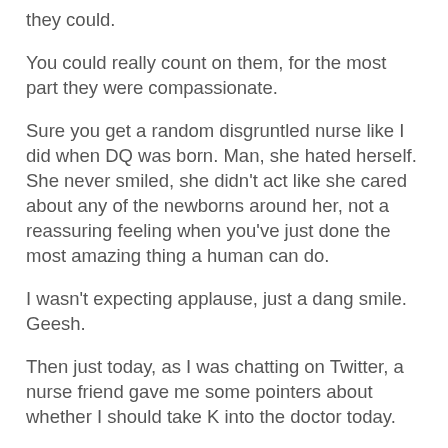they could.
You could really count on them, for the most part they were compassionate.
Sure you get a random disgruntled nurse like I did when DQ was born. Man, she hated herself. She never smiled, she didn't act like she cared about any of the newborns around her, not a reassuring feeling when you've just done the most amazing thing a human can do.
I wasn't expecting applause, just a dang smile. Geesh.
Then just today, as I was chatting on Twitter, a nurse friend gave me some pointers about whether I should take K into the doctor today.
Advice that I didn't expect, but was kindly offered, and tremendously appreciated.
I think too if there was an accident somewhere, say in the middle of the movie theater, and someone yelled, "Help, we